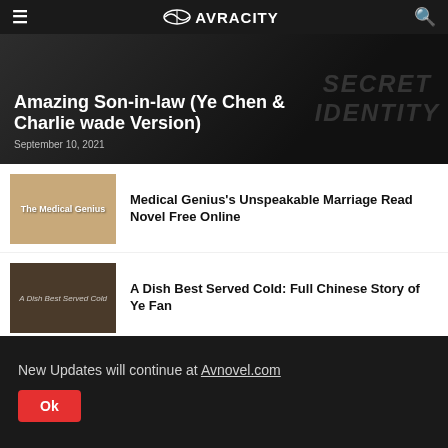AVRACITY
[Figure (screenshot): Hero banner with dark background and 'SECRET IDENTITY' watermark text]
Amazing Son-in-law (Ye Chen & Charlie wade Version)
September 10, 2021
[Figure (photo): Thumbnail image for The Medical Genius novel with tan/brown background]
Medical Genius's Unspeakable Marriage Read Novel Free Online
[Figure (photo): Thumbnail image for A Dish Best Served Cold novel with dark brown background]
A Dish Best Served Cold: Full Chinese Story of Ye Fan
[Figure (photo): Thumbnail image for His True Colors novel with dark/black background]
His True Colors
New Updates will continue at Avnovel.com
Ok